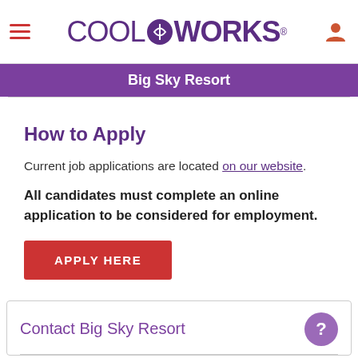CoolWorks - Big Sky Resort
How to Apply
Current job applications are located on our website.
All candidates must complete an online application to be considered for employment.
APPLY HERE
Contact Big Sky Resort